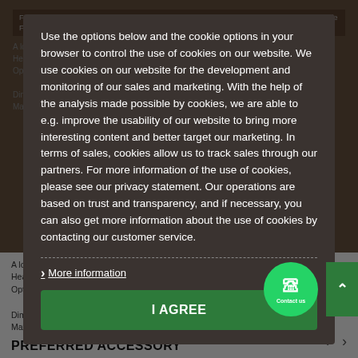Free delivery to orders over 100 EUR (not including sourced items or nearest post). Valid only inside Finland.
Use the options below and the cookie options in your browser to control the use of cookies on our website. We use cookies on our website for the development and monitoring of our sales and marketing. With the help of the analysis made possible by cookies, we are able to e.g. improve the usability of our website to bring more interesting content and better target our marketing. In terms of sales, cookies allow us to track sales through our partners. For more information of the use of cookies, please see our privacy statement. Our operations are based on trust and transparency, and if necessary, you can also get more information about the use of cookies by contacting our customer service.
More information
I AGREE
A low and lightweight sun lounger.
Head rest adjustable to 4 positions.
Optimal comfort thanks to elastic fastening and an organizer for storage
Dimensions packed 17 x 80 x 67. Weight 5Kg, fr... minium. Maximum allowed weight 110Kg
PREFERRED ACCESSORY